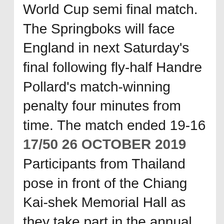World Cup semi final match. The Springboks will face England in next Saturday's final following fly-half Handre Pollard's match-winning penalty four minutes from time. The match ended 19-16
17/50 26 OCTOBER 2019
Participants from Thailand pose in front of the Chiang Kai-shek Memorial Hall as they take part in the annual gay pride parade in Taipei. Some two hundred thousand revellers marched